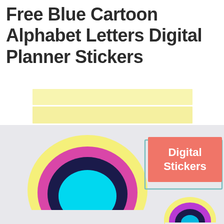Free Blue Cartoon Alphabet Letters Digital Planner Stickers
[Figure (illustration): Two yellow-outlined cartoon alphabet letter stickers with colorful rainbow-like layered fills (yellow, magenta, dark navy, cyan/blue), shown on a light gray background. A pink/salmon colored box with white bold text reading 'Digital Stickers' is overlaid on the right side.]